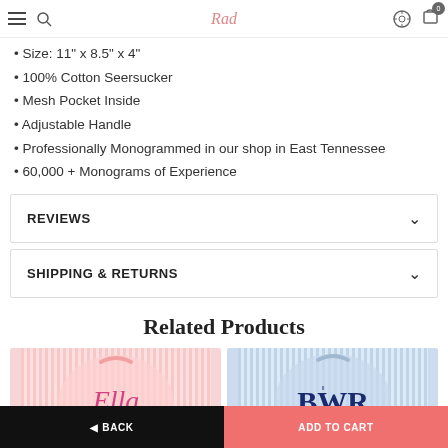Brand logo header with navigation icons
• Size: 11" x 8.5" x 4"
• 100% Cotton Seersucker
• Mesh Pocket Inside
• Adjustable Handle
• Professionally Monogrammed in our shop in East Tennessee
• 60,000 + Monograms of Experience
REVIEWS
SHIPPING & RETURNS
Related Products
[Figure (photo): Pink seersucker monogrammed backpack with cursive 'Ella' monogram]
[Figure (photo): Blue seersucker monogrammed backpack with block 'BWR' monogram]
ADD TO CART button bar